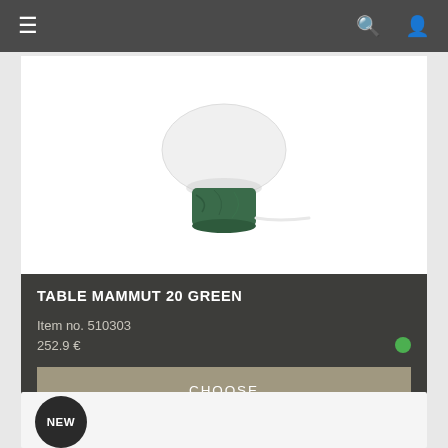Navigation bar with menu, search, and account icons
[Figure (photo): Table lamp product photo: white oval glass shade on a dark green marble cylindrical base with a white power cord, on white background. Product: TABLE MAMMUT 20 GREEN]
TABLE MAMMUT 20 GREEN
Item no. 510303
252.9 €
CHOOSE
[Figure (other): NEW badge (black circle with white text 'NEW') on second product card, partially visible at bottom of page]